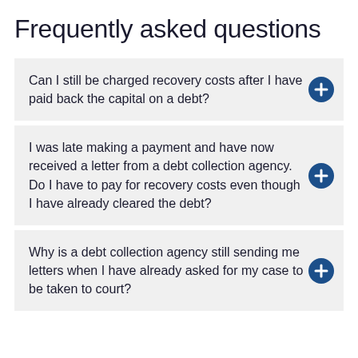Frequently asked questions
Can I still be charged recovery costs after I have paid back the capital on a debt?
I was late making a payment and have now received a letter from a debt collection agency. Do I have to pay for recovery costs even though I have already cleared the debt?
Why is a debt collection agency still sending me letters when I have already asked for my case to be taken to court?